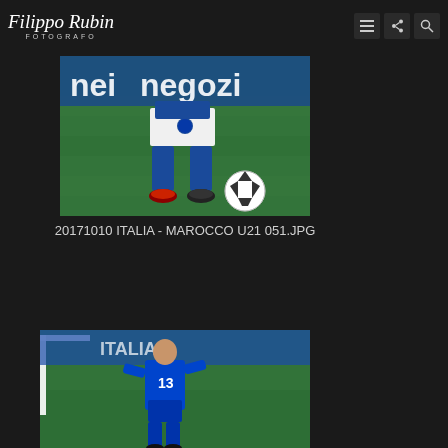Filippo Rubin FOTOGRAFO
[Figure (photo): Close-up photo of a soccer player's legs in blue Italy uniform with white shorts, blue socks, red and black cleats, and a soccer ball on a green pitch. Background shows blue advertising boards reading 'nei negozi'.]
20171010 ITALIA - MAROCCO U21 051.JPG
[Figure (photo): Photo of an Italian soccer player (number 13) in blue Italy kit dribbling on a pitch with white goal post visible in background.]